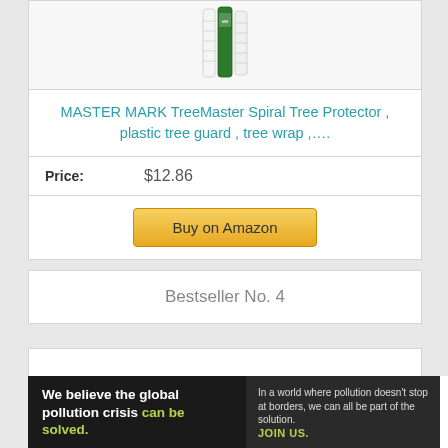[Figure (photo): Product image of MASTER MARK TreeMaster Spiral Tree Protector tubes]
MASTER MARK TreeMaster Spiral Tree Protector , plastic tree guard , tree wrap ,....
Price: $12.86
Buy on Amazon
Bestseller No. 4
[Figure (photo): Partial product image of next bestseller item]
[Figure (infographic): Pure Earth advertisement banner: We believe the global pollution crisis can be solved. In a world where pollution doesn't stop at borders, we can all be part of the solution. JOIN US. PURE EARTH logo.]